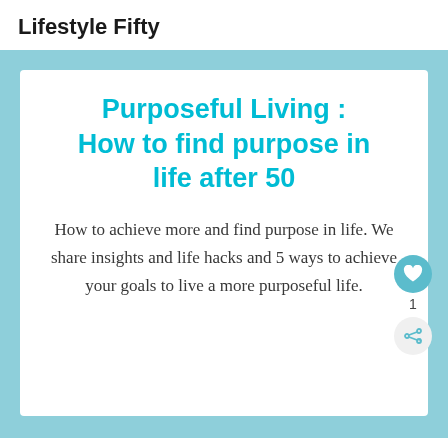Lifestyle Fifty
Purposeful Living : How to find purpose in life after 50
How to achieve more and find purpose in life. We share insights and life hacks and 5 ways to achieve your goals to live a more purposeful life.